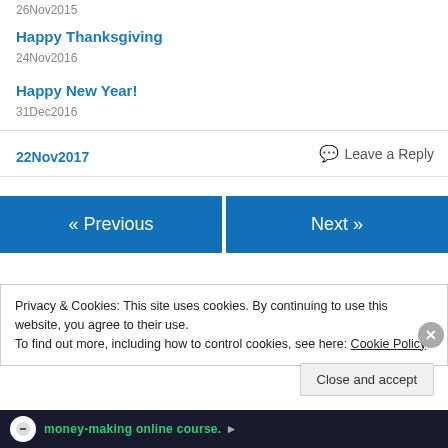26Nov2015
Happy Thanksgiving
24Nov2016
Happy New Year!
31Dec2016
22Nov2017
Leave a Reply
« Previous
Next »
Privacy & Cookies: This site uses cookies. By continuing to use this website, you agree to their use. To find out more, including how to control cookies, see here: Cookie Policy
Close and accept
[Figure (screenshot): Advertisement banner at the bottom showing a money-making online course with a circular logo icon]